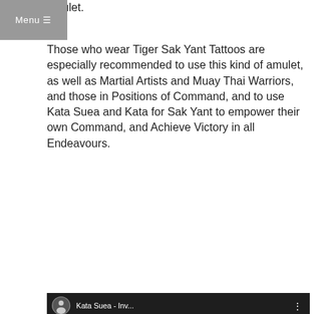Menu
amulet.
Those who wear Tiger Sak Yant Tattoos are especially recommended to use this kind of amulet, as well as Martial Artists and Muay Thai Warriors, and those in Positions of Command, and to use Kata Suea and Kata for Sak Yant to empower their own Command, and Achieve Victory in all Endeavours.
[Figure (screenshot): YouTube video thumbnail showing a tiger face close-up with the video title 'Kata Suea - Inv...' and a red play button overlay. Channel icon visible in the upper left of the video header.]